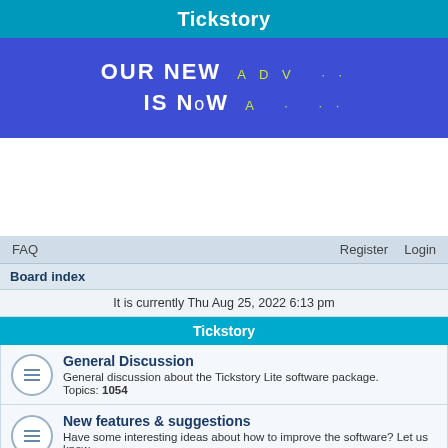Tickstory
[Figure (infographic): Blue banner advertisement with text 'OUR NEW ADV... IS NOW A...' in large white and yellow-green letters on a blue/purple gradient background]
It is currently Thu Aug 25, 2022 6:13 pm
Tickstory
General Discussion
General discussion about the Tickstory Lite software package.
Topics: 1054
New features & suggestions
Have some interesting ideas about how to improve the software? Let us know